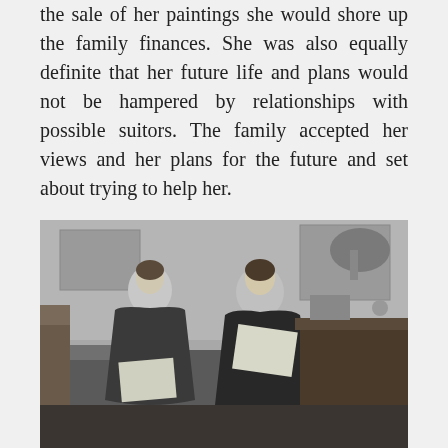the sale of her paintings she would shore up the family finances. She was also equally definite that her future life and plans would not be hampered by relationships with possible suitors. The family accepted her views and her plans for the future and set about trying to help her.
[Figure (photo): Black and white photograph of two women in Victorian-era dark dresses seated in a room, both reading. Framed pictures visible on the wall in the background.]